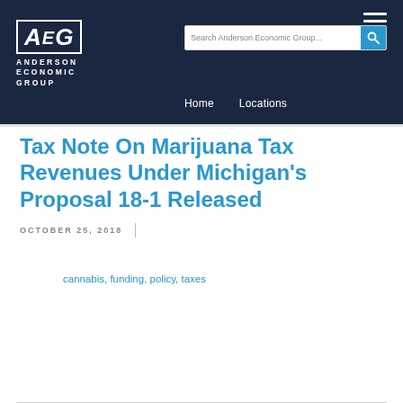Anderson Economic Group — Navigation bar with logo, search, Home, Locations
Tax Note On Marijuana Tax Revenues Under Michigan’s Proposal 18-1 Released
OCTOBER 25, 2018
cannabis, funding, policy, taxes